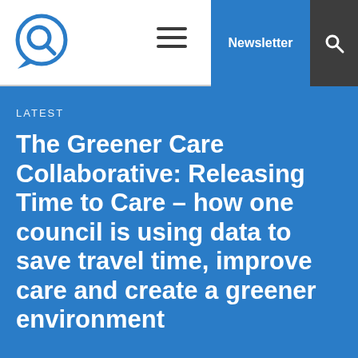[Figure (logo): Circular logo with magnifying glass / speech bubble icon, blue and white]
Newsletter
LATEST
The Greener Care Collaborative: Releasing Time to Care – how one council is using data to save travel time, improve care and create a greener environment